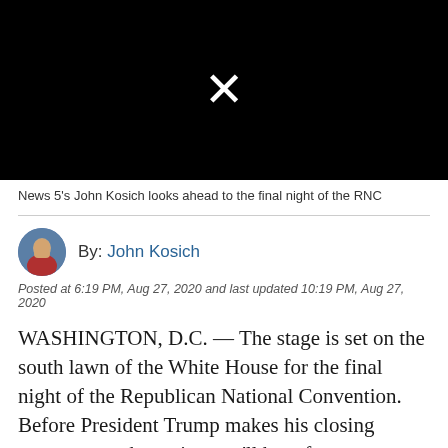[Figure (screenshot): Black video thumbnail with white X mark in the center]
News 5's John Kosich looks ahead to the final night of the RNC
By: John Kosich
Posted at 6:19 PM, Aug 27, 2020 and last updated 10:19 PM, Aug 27, 2020
WASHINGTON, D.C. — The stage is set on the south lawn of the White House for the final night of the Republican National Convention. Before President Trump makes his closing argument to the nation. we'll hear from Cleveland native Ja'Ron Smith.